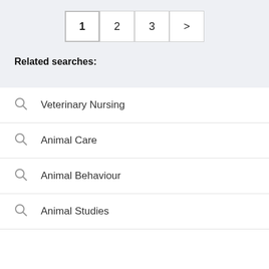1  2  3  >
Related searches:
Veterinary Nursing
Animal Care
Animal Behaviour
Animal Studies